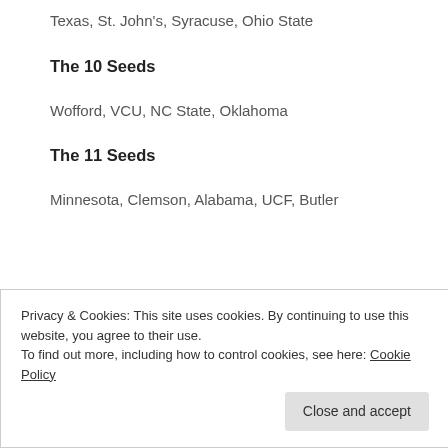Texas, St. John's, Syracuse, Ohio State
The 10 Seeds
Wofford, VCU, NC State, Oklahoma
The 11 Seeds
Minnesota, Clemson, Alabama, UCF, Butler
Privacy & Cookies: This site uses cookies. By continuing to use this website, you agree to their use.
To find out more, including how to control cookies, see here: Cookie Policy
Close and accept